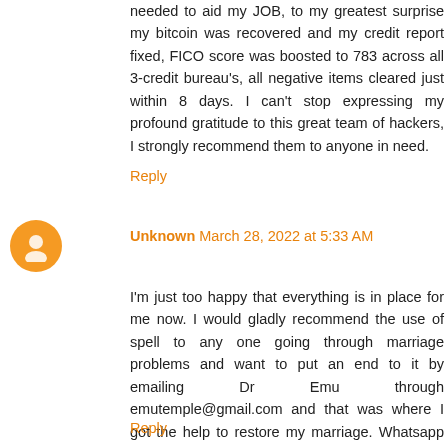needed to aid my JOB, to my greatest surprise my bitcoin was recovered and my credit report fixed, FICO score was boosted to 783 across all 3-credit bureau's, all negative items cleared just within 8 days. I can't stop expressing my profound gratitude to this great team of hackers, I strongly recommend them to anyone in need.
Reply
Unknown March 28, 2022 at 5:33 AM
I'm just too happy that everything is in place for me now. I would gladly recommend the use of spell to any one going through marriage problems and want to put an end to it by emailing Dr Emu through emutemple@gmail.com and that was where I got the help to restore my marriage. Whatsapp +2347012841542 Https://web.facebook.com/Emu-Temple-104891335203341
Reply